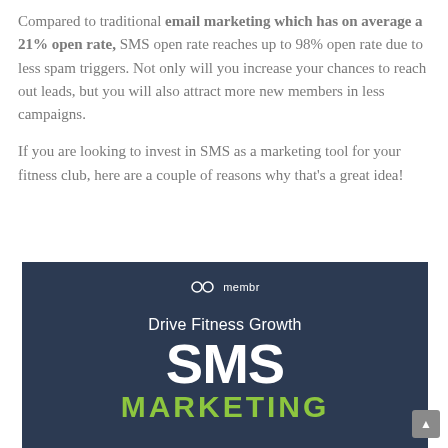Compared to traditional email marketing which has on average a 21% open rate, SMS open rate reaches up to 98% open rate due to less spam triggers. Not only will you increase your chances to reach out leads, but you will also attract more new members in less campaigns.

If you are looking to invest in SMS as a marketing tool for your fitness club, here are a couple of reasons why that's a great idea!
[Figure (infographic): Dark navy blue banner with membr logo at top, subtitle 'Drive Fitness Growth', large bold white text 'SMS', and large bold green text 'MARKETING']